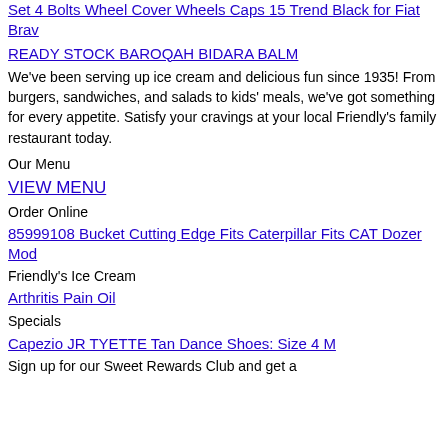Set 4 Bolts Wheel Cover Wheels Caps 15 Trend Black for Fiat Brav
READY STOCK BAROQAH BIDARA BALM
We've been serving up ice cream and delicious fun since 1935! From burgers, sandwiches, and salads to kids' meals, we've got something for every appetite. Satisfy your cravings at your local Friendly's family restaurant today.
Our Menu
VIEW MENU
Order Online
85999108 Bucket Cutting Edge Fits Caterpillar Fits CAT Dozer Mod
Friendly's Ice Cream
Arthritis Pain Oil
Specials
Capezio JR TYETTE Tan Dance Shoes: Size 4 M
Sign up for our Sweet Rewards Club and get a